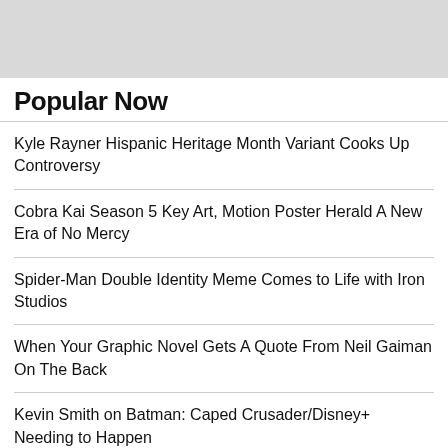[Figure (other): Gray banner/advertisement placeholder area at top of page]
Popular Now
Kyle Rayner Hispanic Heritage Month Variant Cooks Up Controversy
Cobra Kai Season 5 Key Art, Motion Poster Herald A New Era of No Mercy
Spider-Man Double Identity Meme Comes to Life with Iron Studios
When Your Graphic Novel Gets A Quote From Neil Gaiman On The Back
Kevin Smith on Batman: Caped Crusader/Disney+ Needing to Happen
Nikolai Formich's Flowers For Henry in CEX November 2022 Solicits
Yellowstone S05 Teaser: Time for The World to Get to